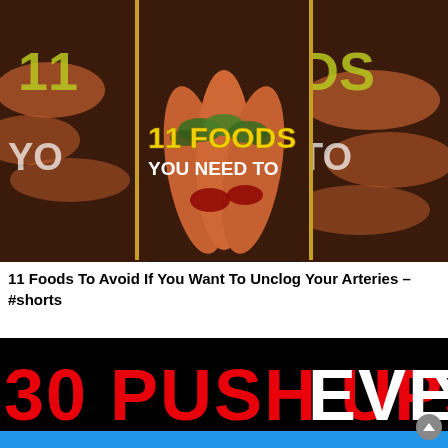[Figure (screenshot): Video thumbnail showing hot dogs/sausages with green herbs, with yellow text '11 FOODS' and white text 'YOU NEED TO' overlaid. Background shows blurred similar food imagery on sides.]
11 Foods To Avoid If You Want To Unclog Your Arteries – #shorts
[Figure (screenshot): Video thumbnail with black background, large bold text reading '30 PUSH UPS EVERY DAY' with '30 PUSH UPS' in red and 'EVERY DAY' in white, with a blue bar at the bottom. A gray scroll-to-top button is visible in the bottom right.]